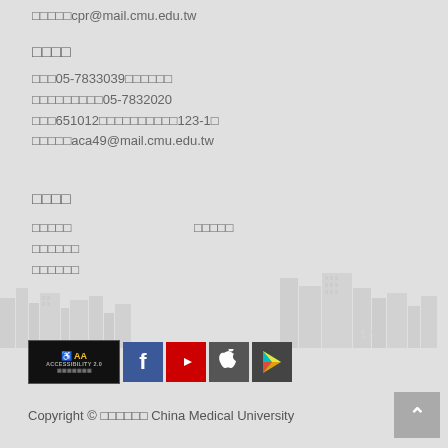□□□□□cpr@mail.cmu.edu.tw
□□□□
□□□05-7833039□□□□□□
□□□□□□□□□05-7832020
□□□651012□□□□□□□□□□123-1□
□□□□□aca49@mail.cmu.edu.tw
□□□□
□□□□□                    □□□□□
□□□□□□
□□□□□□
[Figure (illustration): Building illustrations at the bottom of the footer area]
[Figure (logo): Accessibility badge 2.0 and social media icons: Facebook, YouTube, Apple, Google Play]
Copyright © □□□□□□ China Medical University